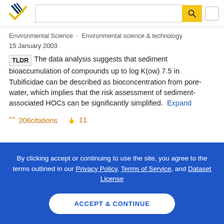[Figure (logo): Semantic Scholar logo - dark blue and yellow checkmark logo with striped book icon]
Environmental Science · Environmental science & technology
15 January 2003
TLDR The data analysis suggests that sediment bioaccumulation of compounds up to log K(ow) 7.5 in Tubificidae can be described as bioconcentration from pore-water, which implies that the risk assessment of sediment-associated HOCs can be significantly simplified. Expand
206 citations  11
By clicking accept or continuing to use the site, you agree to the terms outlined in our Privacy Policy, Terms of Service, and Dataset License
ACCEPT & CONTINUE